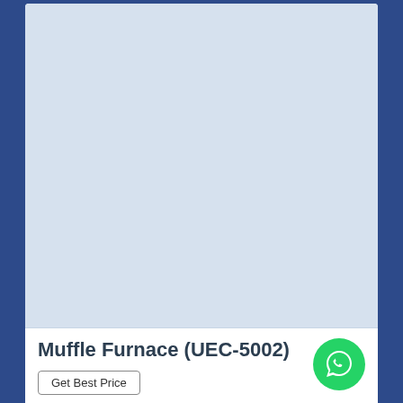[Figure (photo): Product image area for Muffle Furnace UEC-5002 — light blue-grey placeholder rectangle]
Muffle Furnace (UEC-5002)
Get Best Price